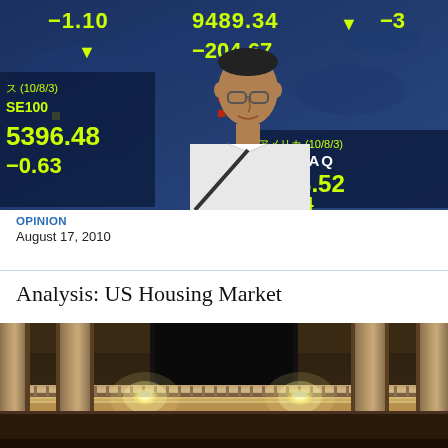[Figure (photo): A man walking past a large electronic stock ticker board displaying NASDAQ at 2283.52 (-11.84), SE100 at 5396.48 (-0.63), and other indices including 9489.34 (-204.67) and -1.10, dated 10/8/3]
OPINION
August 17, 2010
Analysis: US Housing Market
[Figure (photo): Interior architectural photo showing ornate columns, balcony railing, and bright lights inside what appears to be a grand building such as a stock exchange]